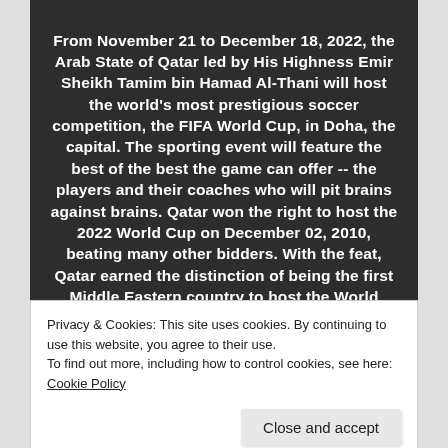From November 21 to December 18, 2022, the Arab State of Qatar led by His Highness Emir Sheikh Tamim bin Hamad Al-Thani will host the world's most prestigious soccer competition, the FIFA World Cup, in Doha, the capital. The sporting event will feature the best of the best the game can offer -- the players and their coaches who will pit brains against brains. Qatar won the right to host the 2022 World Cup on December 02, 2010, beating many other bidders. With the feat, Qatar earned the distinction of being the first Middle Eastern country to host the World
Privacy & Cookies: This site uses cookies. By continuing to use this website, you agree to their use.
To find out more, including how to control cookies, see here: Cookie Policy
Close and accept